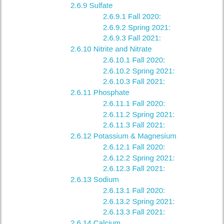2.6.9 Sulfate
2.6.9.1 Fall 2020:
2.6.9.2 Spring 2021:
2.6.9.3 Fall 2021:
2.6.10 Nitrite and Nitrate
2.6.10.1 Fall 2020:
2.6.10.2 Spring 2021:
2.6.10.3 Fall 2021:
2.6.11 Phosphate
2.6.11.1 Fall 2020:
2.6.11.2 Spring 2021:
2.6.11.3 Fall 2021:
2.6.12 Potassium & Magnesium
2.6.12.1 Fall 2020:
2.6.12.2 Spring 2021:
2.6.12.3 Fall 2021:
2.6.13 Sodium
2.6.13.1 Fall 2020:
2.6.13.2 Spring 2021:
2.6.13.3 Fall 2021:
2.6.14 Calcium
2.6.14.1 Fall 2020: